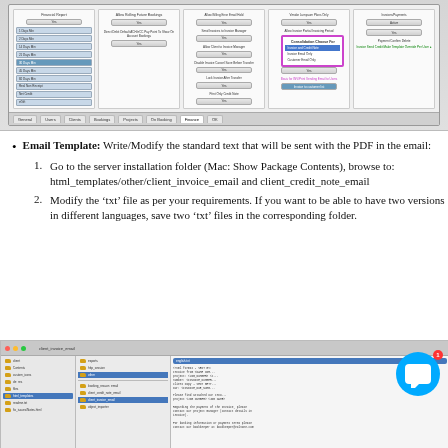[Figure (screenshot): Software settings/configuration screen showing multiple columns with dropdown lists, buttons, and a popup menu with options including 'Invoice and Credit Note', 'Invoice Email Only', 'Customer Email Only']
Email Template: Write/Modify the standard text that will be sent with the PDF in the email:
1. Go to the server installation folder (Mac: Show Package Contents), browse to: html_templates/other/client_invoice_email and client_credit_note_email
2. Modify the ‘txt’ file as per your requirements. If you want to be able to have two versions in different languages, save two ‘txt’ files in the corresponding folder.
[Figure (screenshot): Mac Finder window showing html_templates folder structure with client_invoice_email folder selected, showing english.txt file and a text preview panel on the right with email template content]